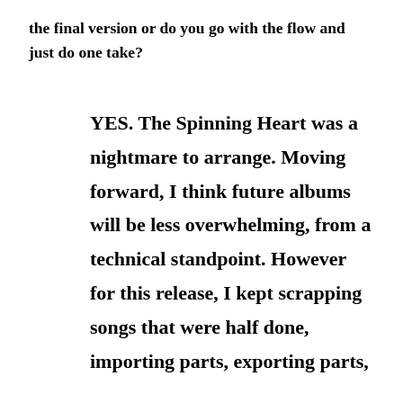the final version or do you go with the flow and just do one take?
YES. The Spinning Heart was a nightmare to arrange. Moving forward, I think future albums will be less overwhelming, from a technical standpoint. However for this release, I kept scrapping songs that were half done, importing parts, exporting parts,